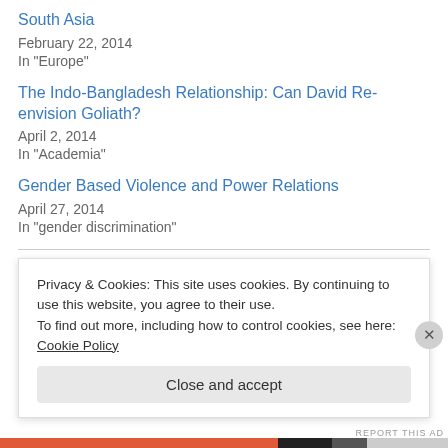South Asia
February 22, 2014
In "Europe"
The Indo-Bangladesh Relationship: Can David Re-envision Goliath?
April 2, 2014
In "Academia"
Gender Based Violence and Power Relations
April 27, 2014
In "gender discrimination"
May 12, 2014
5 Replies
Privacy & Cookies: This site uses cookies. By continuing to use this website, you agree to their use.
To find out more, including how to control cookies, see here: Cookie Policy
Close and accept